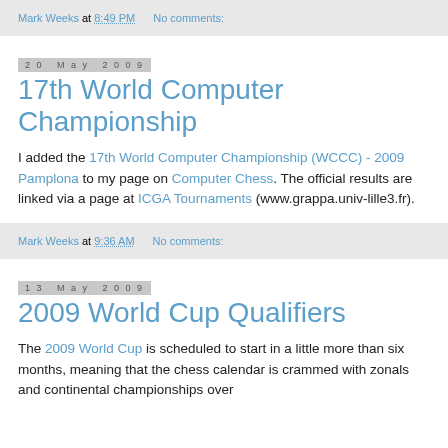Mark Weeks at 8:49 PM   No comments:
20 May 2009
17th World Computer Championship
I added the 17th World Computer Championship (WCCC) - 2009 Pamplona to my page on Computer Chess. The official results are linked via a page at ICGA Tournaments (www.grappa.univ-lille3.fr).
Mark Weeks at 9:36 AM   No comments:
13 May 2009
2009 World Cup Qualifiers
The 2009 World Cup is scheduled to start in a little more than six months, meaning that the chess calendar is crammed with zonals and continental championships over